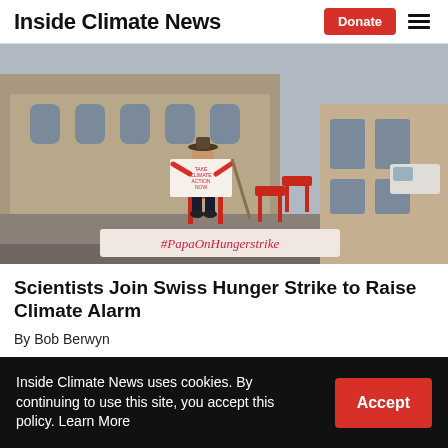Inside Climate News
[Figure (photo): A person sitting on a red chair in front of a large neoclassical government building, holding a sign. A banner in front reads '#PapaOnHungerstrike'. Additional red chairs are visible nearby.]
Scientists Join Swiss Hunger Strike to Raise Climate Alarm
By Bob Berwyn
Inside Climate News uses cookies. By continuing to use this site, you accept this policy. Learn More